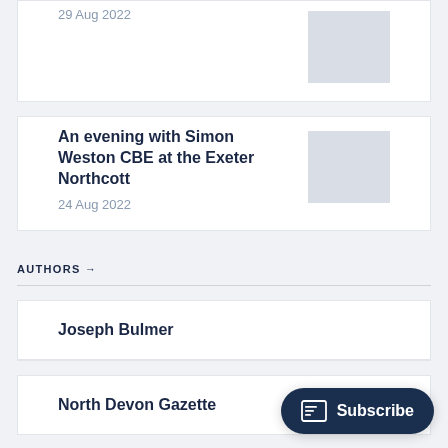29 Aug 2022
An evening with Simon Weston CBE at the Exeter Northcott
24 Aug 2022
AUTHORS →
Joseph Bulmer
North Devon Gazette